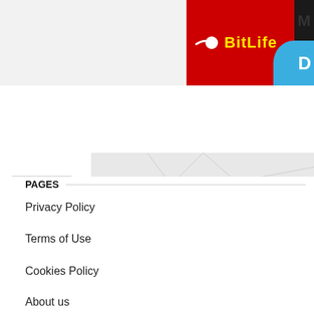[Figure (screenshot): BitLife app advertisement banner in top right, red background with yellow BitLife logo/text and sperm icon, partially showing blue panel with letter D and dark panel with letter M]
[Figure (pie-chart): Partial pie chart visible from page above, showing a blue 3D pie slice with '100%' label, on a light grey geometric background]
This website uses cookies to ensure you get the best experience on our website. Learn more
Got it!
PAGES
Privacy Policy
Terms of Use
Cookies Policy
About us